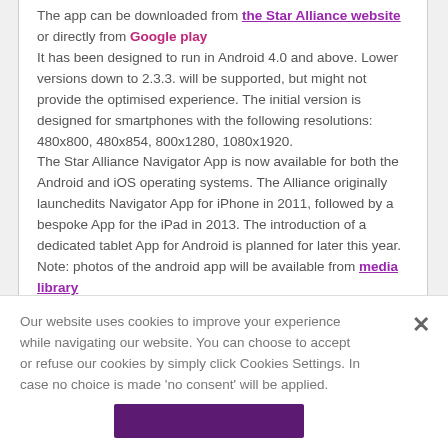The app can be downloaded from the Star Alliance website or directly from Google play It has been designed to run in Android 4.0 and above. Lower versions down to 2.3.3. will be supported, but might not provide the optimised experience. The initial version is designed for smartphones with the following resolutions: 480x800, 480x854, 800x1280, 1080x1920. The Star Alliance Navigator App is now available for both the Android and iOS operating systems. The Alliance originally launchedits Navigator App for iPhone in 2011, followed by a bespoke App for the iPad in 2013. The introduction of a dedicated tablet App for Android is planned for later this year. Note: photos of the android app will be available from media library
Our website uses cookies to improve your experience while navigating our website. You can choose to accept or refuse our cookies by simply click Cookies Settings. In case no choice is made 'no consent' will be applied.